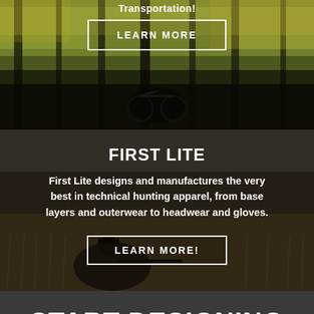Transportation!
[Figure (photo): Person on a bicycle in a forest setting with autumn foliage. A 'LEARN MORE' button overlay is visible.]
FIRST LITE
First Lite designs and manufactures the very best in technical hunting apparel, from base layers and outerwear to headwear and gloves.
[Figure (photo): Hunter in camouflage gear aiming with a bow in a field with dry grass and shrubs. A 'LEARN MORE!' button overlay is visible.]
START DESIGNING YOUR HUNT